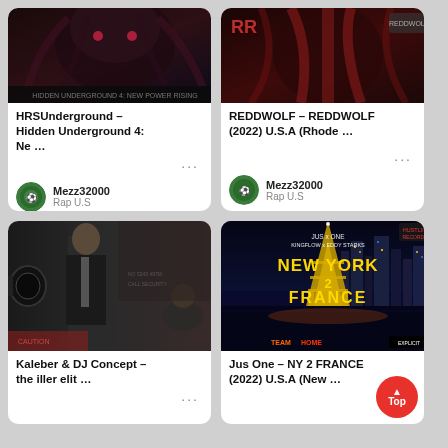[Figure (illustration): Album cover: HRSUnderground – Hidden Underground 4: Ne… dark themed cover]
HRSUnderground – Hidden Underground 4: Ne …
Mezz32000
Rap U.S
[Figure (illustration): Album cover: REDDWOLF – REDDWOLF (2022) U.S.A (Rhode … red dark themed cover]
REDDWOLF – REDDWOLF (2022) U.S.A (Rhode …
Mezz32000
Rap U.S
[Figure (illustration): Album cover: Kaleber & DJ Concept – the iller elit … dark cinematic photo]
Kaleber & DJ Concept – the iller elit …
[Figure (illustration): Album cover: Jus One – NY 2 FRANCE (2022) U.S.A (New … city night skyline with Eiffel Tower]
Jus One – NY 2 FRANCE (2022) U.S.A (New …